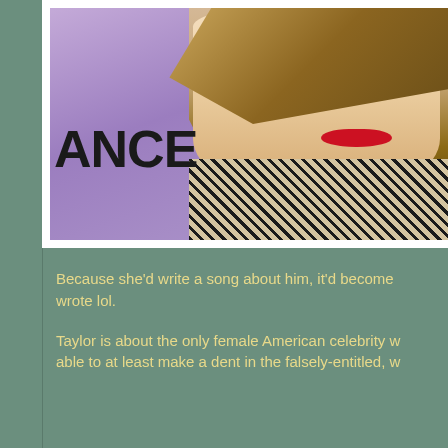[Figure (photo): Close-up photo of a blonde female celebrity with red lipstick wearing a patterned outfit, posed in front of a purple background with partial text 'ANCE' visible]
Because she'd write a song about him, it'd become a hit, etc. lol - no wait, she writes about guys she dated or whatever she wrote lol.
Taylor is about the only female American celebrity w able to at least make a dent in the falsely-entitled, w